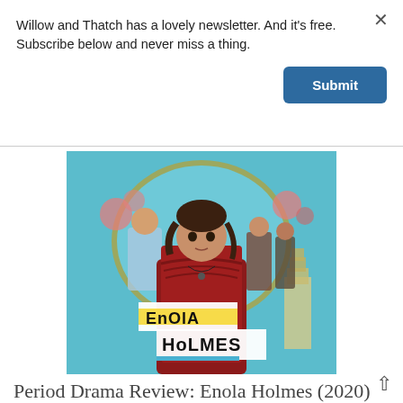Willow and Thatch has a lovely newsletter. And it's free. Subscribe below and never miss a thing.
[Figure (screenshot): A blue Submit button for newsletter subscription]
[Figure (photo): Movie poster for Enola Holmes (2020) featuring a young woman in a red Victorian dress standing in front of a teal background with Big Ben and other characters. The title 'ENOLA HOLMES' is displayed in cut-out ransom-note style letters.]
Period Drama Review: Enola Holmes (2020)